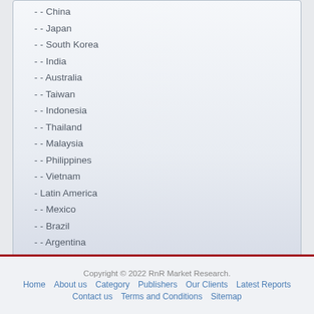- - China
- - Japan
- - South Korea
- - India
- - Australia
- - Taiwan
- - Indonesia
- - Thailand
- - Malaysia
- - Philippines
- - Vietnam
- Latin America
- - Mexico
- - Brazil
- - Argentina
Copyright © 2022 RnR Market Research.
Home  About us  Category  Publishers  Our Clients  Latest Reports
Contact us  Terms and Conditions  Sitemap